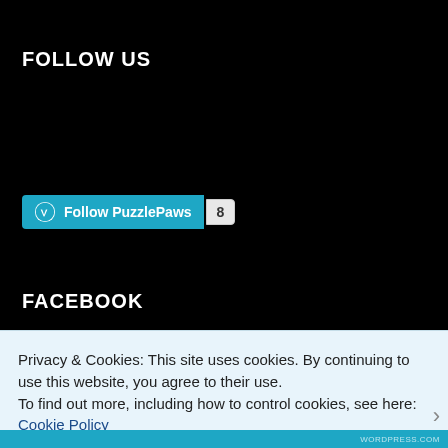FOLLOW US
[Figure (other): WordPress Follow PuzzlePaws button with count badge showing 8 followers]
FACEBOOK
Privacy & Cookies: This site uses cookies. By continuing to use this website, you agree to their use.
To find out more, including how to control cookies, see here: Cookie Policy
Close and accept